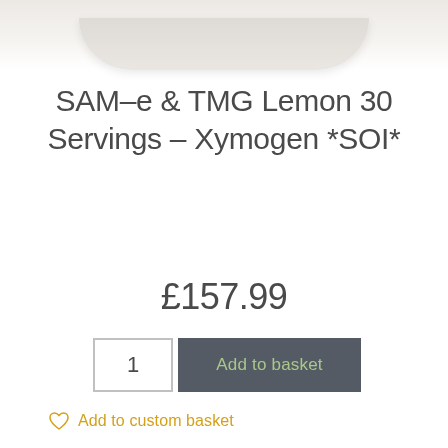[Figure (photo): Partial view of a white ceramic bowl or plate, cropped at the top of the page]
SAM-e & TMG Lemon 30 Servings – Xymogen *SOI*
£157.99
1
Add to basket
Add to custom basket